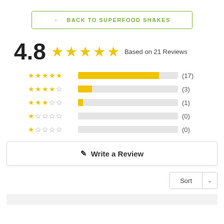← BACK TO SUPERFOOD SHAKES
4.8  ★★★★★  Based on 21 Reviews
[Figure (bar-chart): Rating breakdown]
Write a Review
Sort